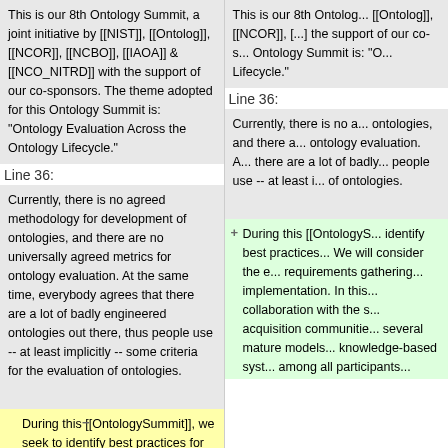This is our 8th Ontology Summit, a joint initiative by [[NIST]], [[Ontolog]], [[NCOR]], [[NCBO]], [[IAOA]] & [[NCO_NITRD]] with the support of our co-sponsors. The theme adopted for this Ontology Summit is: "Ontology Evaluation Across the Ontology Lifecycle."
This is our 8th Ontolog... [[Ontolog]], [[NCOR]], [...] the support of our co-s... Ontology Summit is: "O... Lifecycle."
Line 36:
Line 36:
Currently, there is no agreed methodology for development of ontologies, and there are no universally agreed metrics for ontology evaluation. At the same time, everybody agrees that there are a lot of badly engineered ontologies out there, thus people use -- at least implicitly -- some criteria for the evaluation of ontologies.
Currently, there is no a... ontologies, and there a... ontology evaluation. A... there are a lot of badly... people use -- at least i... of ontologies.
During this [[OntologySummit]], we seek to identify best practices for ontology development and evaluation. We will consider the entire lifecycle of an ontology -- from requirements gathering and analysis, through to design and implementation. In this endeavor, the Summit will seek collaboration with the software engineering and knowledge acquisition communities. Research in these fields has led to several mature models for the software lifecycle and the design of knowledge-based systems, and we expect that fruitful interaction among all participants will lead to a consensus
During this [[OntologyS... identify best practices... We will consider the e... requirements gathering... implementation. In this... collaboration with the s... acquisition communitie... several mature models... knowledge-based syst... among all participants...